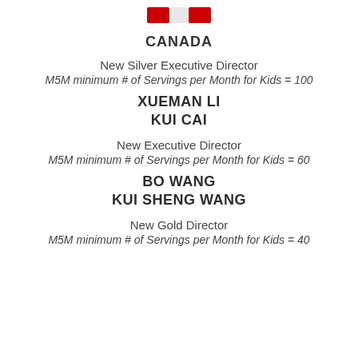[Figure (logo): Red and white logo/emblem at the top center of the page]
CANADA
New Silver Executive Director
M5M minimum # of Servings per Month for Kids = 100
XUEMAN LI
KUI CAI
New Executive Director
M5M minimum # of Servings per Month for Kids = 60
BO WANG
KUI SHENG WANG
New Gold Director
M5M minimum # of Servings per Month for Kids = 40